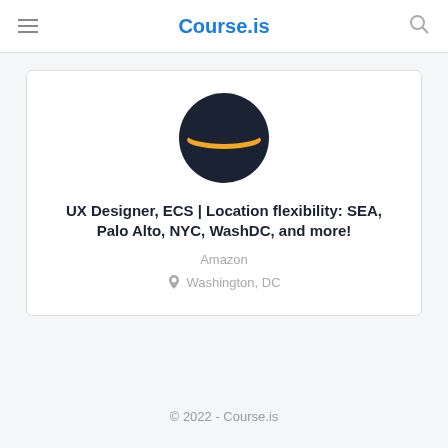Course.is
[Figure (logo): Amazon logo: dark navy circle with an orange horizontal stripe across the middle]
UX Designer, ECS | Location flexibility: SEA, Palo Alto, NYC, WashDC, and more!
Amazon
Washington, DC
© 2022 - Course.is